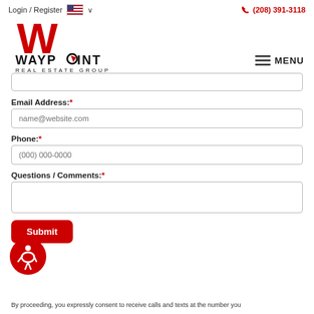Login / Register   🇺🇸 ∨      📞 (208) 391-3118
[Figure (logo): Waypoint Real Estate Group logo with large red W and black text]
≡ MENU
Email Address:*
name@website.com (placeholder)
Phone:*
(000) 000-0000 (placeholder)
Questions / Comments:*
Submit
By proceeding, you expressly consent to receive calls and texts at the number you